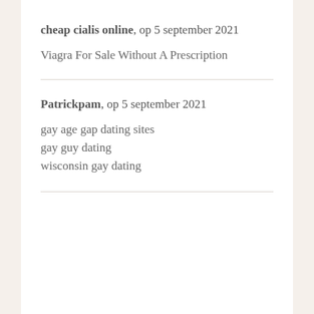cheap cialis online, op 5 september 2021
Viagra For Sale Without A Prescription
Patrickpam, op 5 september 2021
gay age gap dating sites
gay guy dating
wisconsin gay dating